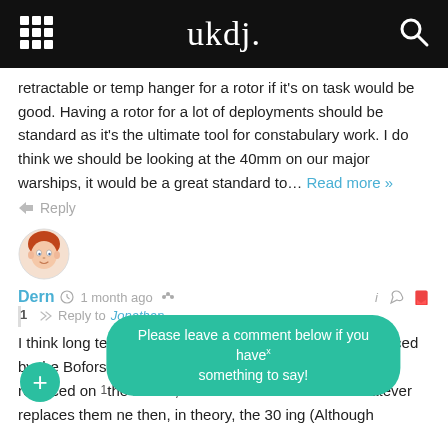ukdj.
retractable or temp hanger for a rotor if it’s on task would be good. Having a rotor for a lot of deployments should be standard as it’s the ultimate tool for constabulary work. I do think we should be looking at the 40mm on our major warships, it would be a great standard to… Read more »
Reply
[Figure (illustration): User avatar: cartoon illustration of a person with red/orange hair]
Dern  1 month ago
Reply to Jonathan
I think long term the 30mm should be removed and replaced by the Bofors 40mm, but I don’t think it should ever be replaced on the Rivers, instead when the B3’s or whatever replaces them ne then, in theory, the 30 ing (Although
Please leave a comment below if you have something to say!